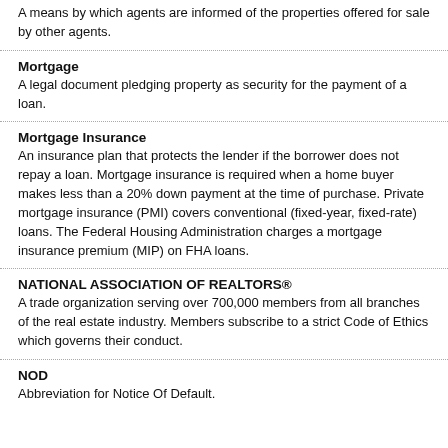A means by which agents are informed of the properties offered for sale by other agents.
Mortgage
A legal document pledging property as security for the payment of a loan.
Mortgage Insurance
An insurance plan that protects the lender if the borrower does not repay a loan. Mortgage insurance is required when a home buyer makes less than a 20% down payment at the time of purchase. Private mortgage insurance (PMI) covers conventional (fixed-year, fixed-rate) loans. The Federal Housing Administration charges a mortgage insurance premium (MIP) on FHA loans.
NATIONAL ASSOCIATION OF REALTORS®
A trade organization serving over 700,000 members from all branches of the real estate industry. Members subscribe to a strict Code of Ethics which governs their conduct.
NOD
Abbreviation for Notice Of Default.